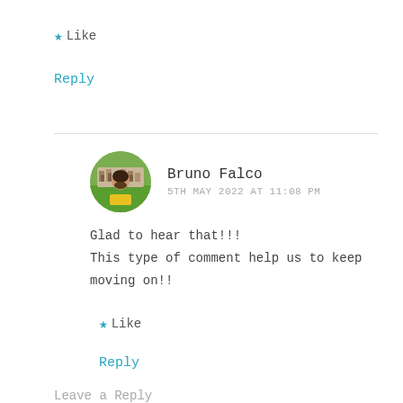★ Like
Reply
Bruno Falco
5TH MAY 2022 AT 11:08 PM
Glad to hear that!!!
This type of comment help us to keep moving on!!
★ Like
Reply
Leave a Reply